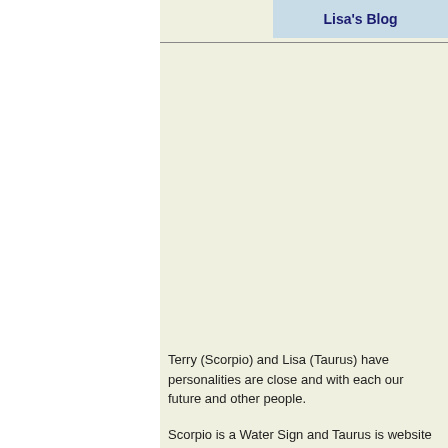Lisa's Blog
Terry (Scorpio) and Lisa (Taurus) have personalities are close and with each our future and other people.

Scorpio is a Water Sign and Taurus is website is constantly evolving and ha quality products to our customers at c